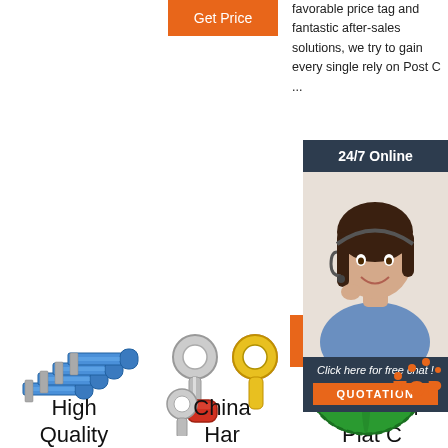[Figure (illustration): Orange 'Get Price' button]
favorable price tag and fantastic after-sales solutions, we try to gain every single rely on Post C ...
[Figure (infographic): 24/7 Online dark panel with customer service representative photo and 'Click here for free chat!' panel with QUOTATION button]
[Figure (photo): Blue crimp wire terminals/connectors - flat spade type]
[Figure (photo): Ring terminal connectors in silver, yellow and red colors]
[Figure (photo): Green electrical insulating tape roll]
High Quality
China
Durable 4 Plat C